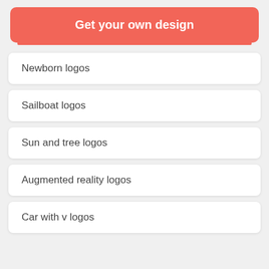Get your own design
Newborn logos
Sailboat logos
Sun and tree logos
Augmented reality logos
Car with v logos